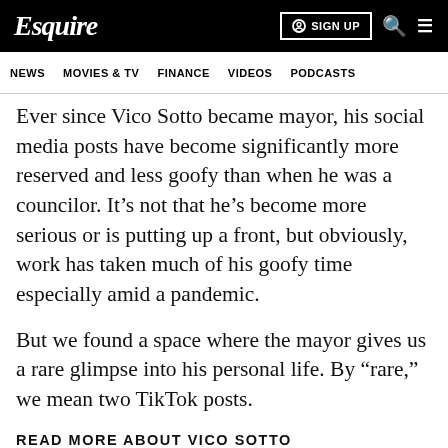Esquire | SIGN UP
NEWS  MOVIES & TV  FINANCE  VIDEOS  PODCASTS
Ever since Vico Sotto became mayor, his social media posts have become significantly more reserved and less goofy than when he was a councilor. It’s not that he’s become more serious or is putting up a front, but obviously, work has taken much of his goofy time especially amid a pandemic.
But we found a space where the mayor gives us a rare glimpse into his personal life. By “rare,” we mean two TikTok posts.
READ MORE ABOUT VICO SOTTO